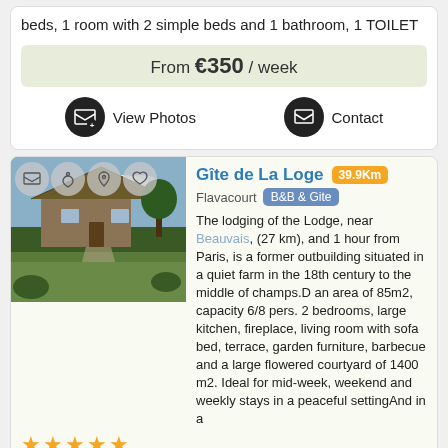beds, 1 room with 2 simple beds and 1 bathroom, 1 TOILET
From €350 / week
View Photos
Contact
[Figure (photo): Exterior photo of Gîte de La Loge, a farm building with thatched roof surrounded by garden]
Gîte de La Loge
39.9Km
Flavacourt  B&B & Gite
The lodging of the Lodge, near Beauvais, (27 km), and 1 hour from Paris, is a former outbuilding situated in a quiet farm in the 18th century to the middle of champs.D an area of 85m2, capacity 6/8 pers. 2 bedrooms, large kitchen, fireplace, living room with sofa bed, terrace, garden furniture, barbecue and a large flowered courtyard of 1400 m2. Ideal for mid-week, weekend and weekly stays in a peaceful settingAnd in a